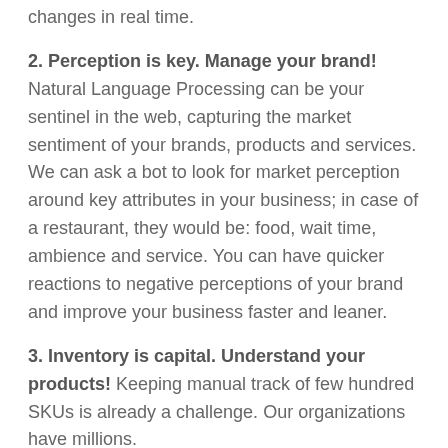changes in real time.
2. Perception is key. Manage your brand! Natural Language Processing can be your sentinel in the web, capturing the market sentiment of your brands, products and services. We can ask a bot to look for market perception around key attributes in your business; in case of a restaurant, they would be: food, wait time, ambience and service. You can have quicker reactions to negative perceptions of your brand and improve your business faster and leaner.
3. Inventory is capital. Understand your products! Keeping manual track of few hundred SKUs is already a challenge. Our organizations have millions. Some few points to keep in mind: